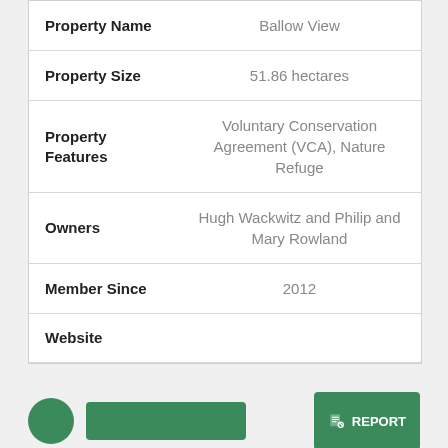| Field | Value |
| --- | --- |
| Property Name | Ballow View |
| Property Size | 51.86 hectares |
| Property Features | Voluntary Conservation Agreement (VCA), Nature Refuge |
| Owners | Hugh Wackwitz and Philip and Mary Rowland |
| Member Since | 2012 |
| Website |  |